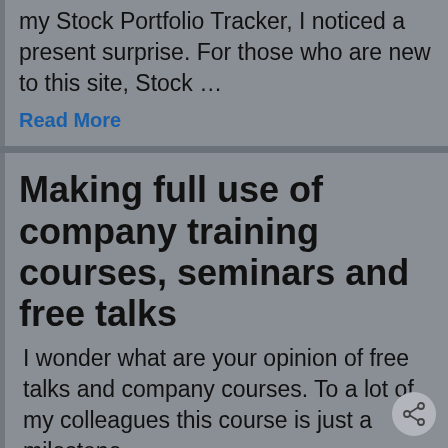my Stock Portfolio Tracker, I noticed a present surprise. For those who are new to this site, Stock …
Read More
Making full use of company training courses, seminars and free talks
I wonder what are your opinion of free talks and company courses. To a lot of my colleagues this course is just a milestone …